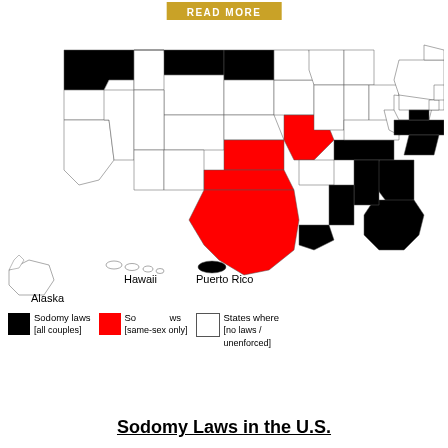READ MORE
[Figure (map): Map of the United States showing states with sodomy laws (black), sodomy laws applying only to same-sex couples (red), and states where sodomy laws were absent or unenforced (white). Includes Alaska, Hawaii, and Puerto Rico insets.]
Sodomy laws [all couples] | Sodomy laws [same-sex only] | States where [no laws / unenforced]
Sodomy Laws in the U.S.